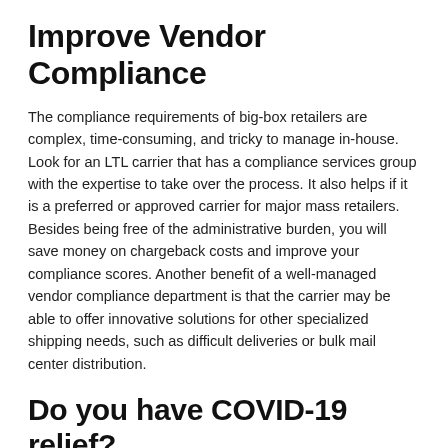Improve Vendor Compliance
The compliance requirements of big-box retailers are complex, time-consuming, and tricky to manage in-house. Look for an LTL carrier that has a compliance services group with the expertise to take over the process. It also helps if it is a preferred or approved carrier for major mass retailers. Besides being free of the administrative burden, you will save money on chargeback costs and improve your compliance scores. Another benefit of a well-managed vendor compliance department is that the carrier may be able to offer innovative solutions for other specialized shipping needs, such as difficult deliveries or bulk mail center distribution.
Do you have COVID-19 relief?
Many businesses have been negatively affected by COVID-19. This means that many banks have released some form of COVID-19 relief that could make things easier for businesses who claim from the fund. If you're with a bank, check if they offer any type of relief options. Where banks don't offer it, some companies can turn to their local government for state assistance in other circumstances that could help to lift your business out of